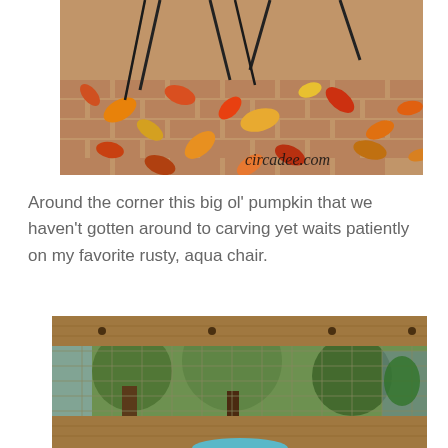[Figure (photo): Autumn leaves scattered on brick pavement with metal chair legs visible at top, watermark 'circadee.com' in bottom right corner]
Around the corner this big ol' pumpkin that we haven't gotten around to carving yet waits patiently on my favorite rusty, aqua chair.
[Figure (photo): Outdoor scene viewed through wooden fence/trellis with wire mesh, showing trees and greenery in background, with blue object (chair) partially visible at bottom]